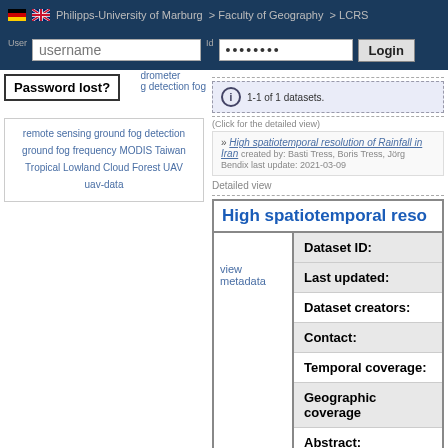Philipps-University of Marburg > Faculty of Geography > LCRS
username
•••••••• (password field)
Login
Password lost?
drometer
g detection fog
remote sensing ground fog detection
ground fog frequency MODIS Taiwan
Tropical Lowland Cloud Forest UAV
uav-data
1-1 of 1 datasets.
(Click for the detailed view)
» High spatiotemporal resolution of Rainfall in Iran created by: Basti Tress, Boris Tress, Jörg Bendix last update: 2021-03-09
Detailed view
High spatiotemporal reso
|  | Dataset ID: | Last updated: | Dataset creators: | Contact: | Temporal coverage: | Geographic coverage: | Abstract: | Additional info: |
| --- | --- | --- | --- | --- | --- | --- | --- | --- |
| view metadata |  |  |  |  |  |  |  |  |